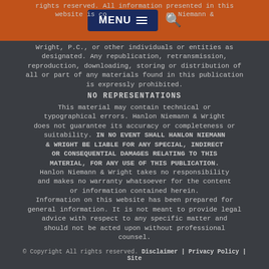MENU | rights reserved. All information presented in this website is copyright of Hanlon Niemann & Wright, P.C., or other individuals or entities as designated.
rights reserved. All information presented in this website is copyright of Hanlon Niemann & Wright, P.C., or other individuals or entities as designated. Any republication, retransmission, reproduction, downloading, storing or distribution of all or part of any materials found in this publication is expressly prohibited.
NO REPRESENTATIONS
This material may contain technical or typographical errors. Hanlon Niemann & Wright does not guarantee its accuracy or completeness or suitability. IN NO EVENT SHALL HANLON NIEMANN & WRIGHT BE LIABLE FOR ANY SPECIAL, INDIRECT OR CONSEQUENTIAL DAMAGES RELATING TO THIS MATERIAL, FOR ANY USE OF THIS PUBLICATION. Hanlon Niemann & Wright takes no responsibility and makes no warranty whatsoever for the content or information contained herein. Information on this website has been prepared for general information. It is not meant to provide legal advice with respect to any specific matter and should not be acted upon without professional counsel.
© Copyright All rights reserved. Disclaimer | Privacy Policy | Site